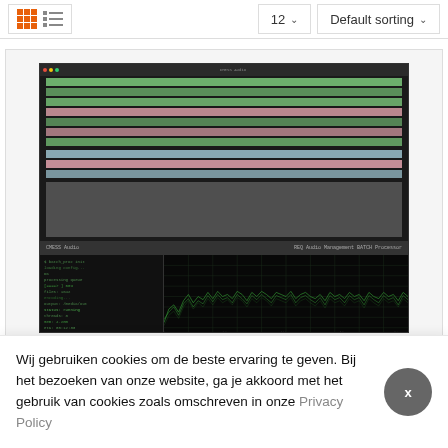12   Default sorting
[Figure (screenshot): Software application screenshot showing a batch processor UI with colored task rows (pink, green, blue, gray) in the top panel and a waveform/spectrogram visualization in the bottom right panel, plus a log console in the bottom left panel.]
Wij gebruiken cookies om de beste ervaring te geven. Bij het bezoeken van onze website, ga je akkoord met het gebruik van cookies zoals omschreven in onze Privacy Policy